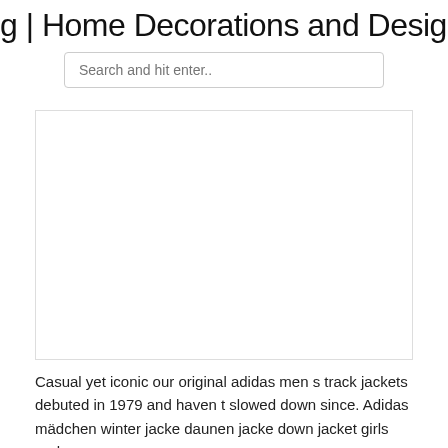g | Home Decorations and Design | H
Search and hit enter..
[Figure (photo): Blank/white image placeholder area inside a bordered box]
Casual yet iconic our original adidas men s track jackets debuted in 1979 and haven t slowed down since. Adidas mädchen winter jacke daunen jacke down jacket girls parka